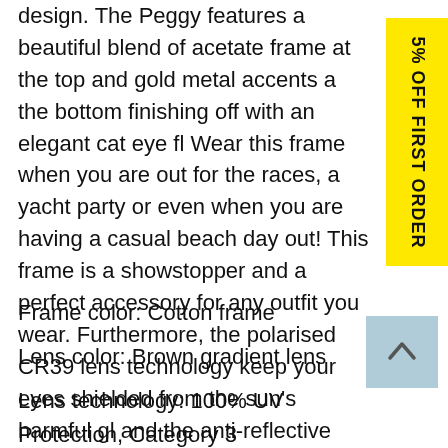design. The Peggy features a beautiful blend of acetate frame at the top and gold metal accents at the bottom finishing off with an elegant cat eye fl... Wear this frame when you are out for the races, a yacht party or even when you are having a casual beach day out! This frame is a showstopper and a perfect accessory for any outfit you wear. Furthermore, the polarised CR39 lens technology keep your eyes shielded from the sun's harmful gl... and the anti-reflective coating helps prevent the sun's light bouncing back to your eyes.
[Figure (other): Yellow vertical banner with rotated text reading '5% OFF FIRST ORDER']
Frame color: Cotton frame
Lens color: Brown gradient lens
Lens technology: 100% UV Protection, Category 3
[Figure (other): Light blue scroll-to-top button with upward chevron arrow]